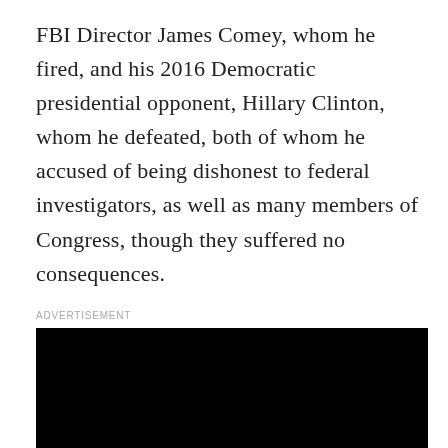FBI Director James Comey, whom he fired, and his 2016 Democratic presidential opponent, Hillary Clinton, whom he defeated, both of whom he accused of being dishonest to federal investigators, as well as many members of Congress, though they suffered no consequences.
ADVERTISEMENT
[Figure (other): Black advertisement block/video placeholder]